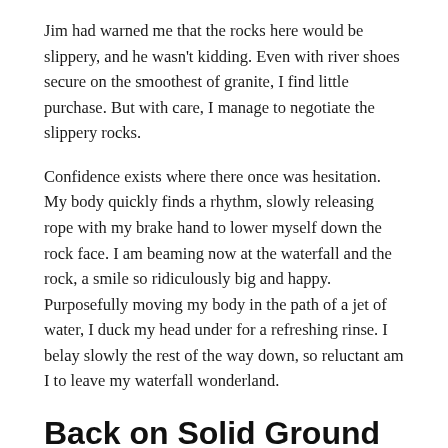Jim had warned me that the rocks here would be slippery, and he wasn't kidding. Even with river shoes secure on the smoothest of granite, I find little purchase. But with care, I manage to negotiate the slippery rocks.
Confidence exists where there once was hesitation. My body quickly finds a rhythm, slowly releasing rope with my brake hand to lower myself down the rock face. I am beaming now at the waterfall and the rock, a smile so ridiculously big and happy. Purposefully moving my body in the path of a jet of water, I duck my head under for a refreshing rinse. I belay slowly the rest of the way down, so reluctant am I to leave my waterfall wonderland.
Back on Solid Ground
When my feet reach the bottom, I find myself standing in Cove Creek. I scramble to find a non-slippery spot where I can safely undo the ropes without falling. I give the rope three big tugs, and moments later, Jim begins his own rappel.